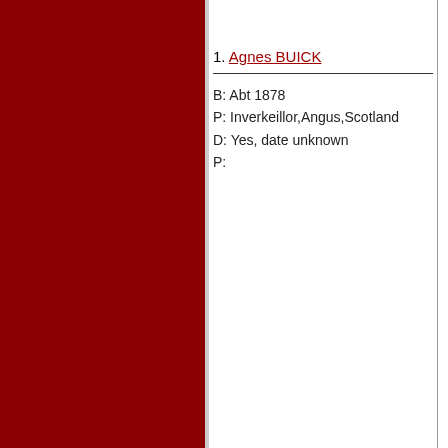1. Agnes BUICK
B: Abt 1878
P: Inverkeillor,Angus,Scotland
D: Yes, date unknown
P: